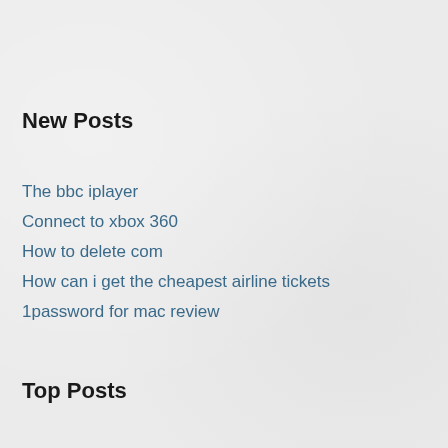New Posts
The bbc iplayer
Connect to xbox 360
How to delete com
How can i get the cheapest airline tickets
1password for mac review
Top Posts